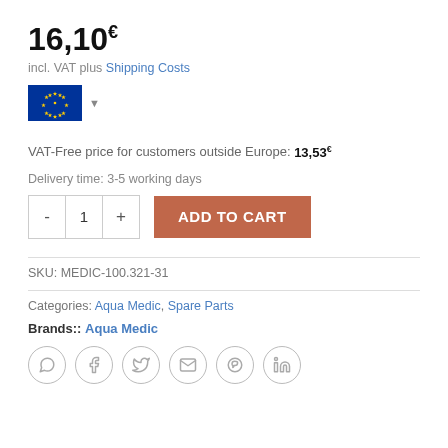16,10€
incl. VAT plus Shipping Costs
[Figure (other): EU flag with dropdown arrow]
VAT-Free price for customers outside Europe: 13,53€
Delivery time: 3-5 working days
[Figure (other): Quantity selector with minus, 1, plus buttons and orange ADD TO CART button]
SKU: MEDIC-100.321-31
Categories: Aqua Medic, Spare Parts
Brands:: Aqua Medic
[Figure (other): Social sharing icons: WhatsApp, Facebook, Twitter, Email, Pinterest, LinkedIn]